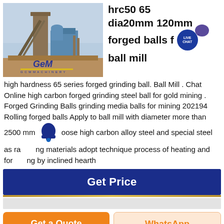[Figure (photo): Industrial mining machinery / ball mill plant photo with GEM Machinery branding]
hrc50 65 dia20mm 120mm forged balls for ball mill
high hardness 65 series forged grinding ball. Ball Mill . Chat Online high carbon forged grinding steel ball for gold mining . Forged Grinding Balls grinding media balls for mining 202194 Rolling forged balls Apply to ball mill with diameter more than 2500 mm oose high carbon alloy steel and special steel as raw materials adopt technique process of heating and forging by inclined hearth
Get Price
Get a Quote
WhatsApp